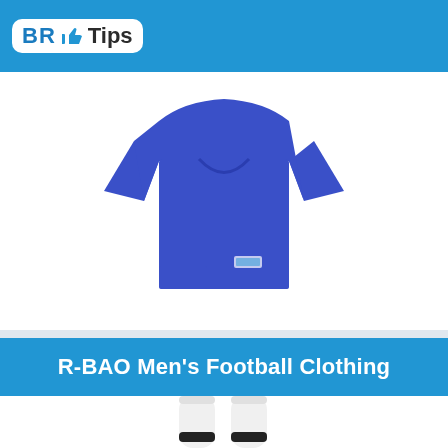BR Tips
[Figure (photo): Blue football jersey/shirt displayed on white background]
R-BAO Men's Football Clothing
[Figure (photo): White football socks with black stripe at the top, partially visible]